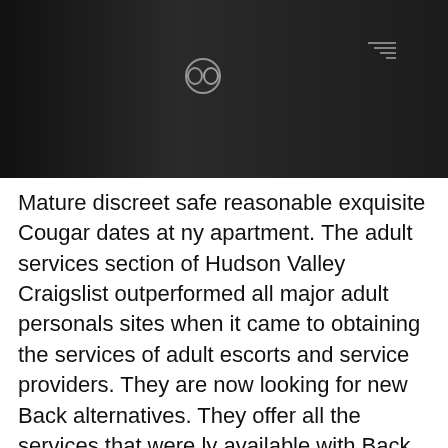[Figure (photo): Dark photo showing chains on left side with dark background, a camera viewfinder circle icon in the center, and signal/settings icons on the right]
Mature discreet safe reasonable exquisite Cougar dates at ny apartment. The adult services section of Hudson Valley Craigslist outperformed all major adult personals sites when it came to obtaining the services of adult escorts and service providers. They are now looking for new Back alternatives. They offer all the services that were ly available with Back.
ZIP: 54016
Hudson escort classified - Back hudson valley women seeking